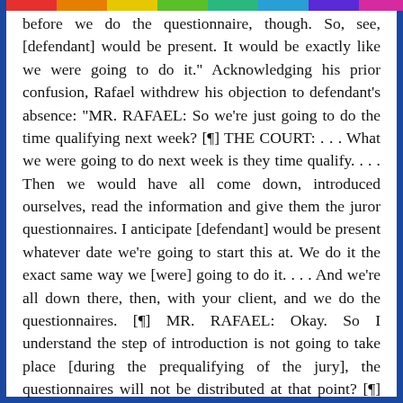before we do the questionnaire, though. So, see, [defendant] would be present. It would be exactly like we were going to do it." Acknowledging his prior confusion, Rafael withdrew his objection to defendant's absence: "MR. RAFAEL: So we're just going to do the time qualifying next week? [¶] THE COURT: . . . What we were going to do next week is they time qualify. . . . Then we would have all come down, introduced ourselves, read the information and give them the juror questionnaires. I anticipate [defendant] would be present whatever date we're going to start this at. We do it the exact same way we [were] going to do it. . . . And we're all down there, then, with your client, and we do the questionnaires. [¶] MR. RAFAEL: Okay. So I understand the step of introduction is not going to take place [during the prequalifying of the jury], the questionnaires will not be distributed at that point? [¶] THE COURT: Right."